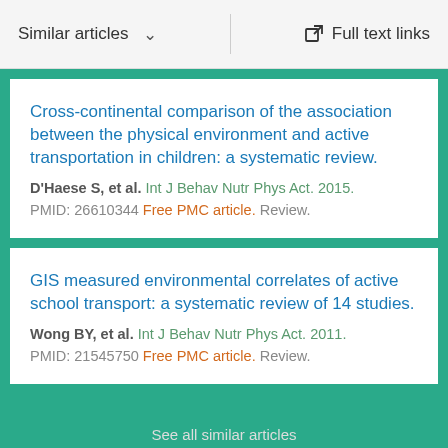Similar articles   Full text links
Cross-continental comparison of the association between the physical environment and active transportation in children: a systematic review.
D'Haese S, et al. Int J Behav Nutr Phys Act. 2015.
PMID: 26610344 Free PMC article. Review.
GIS measured environmental correlates of active school transport: a systematic review of 14 studies.
Wong BY, et al. Int J Behav Nutr Phys Act. 2011.
PMID: 21545750 Free PMC article. Review.
See all similar articles